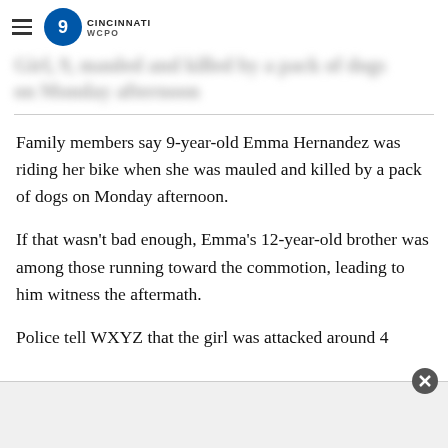WCPO 9 Cincinnati
[blurred headline text]
Family members say 9-year-old Emma Hernandez was riding her bike when she was mauled and killed by a pack of dogs on Monday afternoon.
If that wasn’t bad enough, Emma’s 12-year-old brother was among those running toward the commotion, leading to him witness the aftermath.
Police tell WXYZ that the girl was attacked around 4